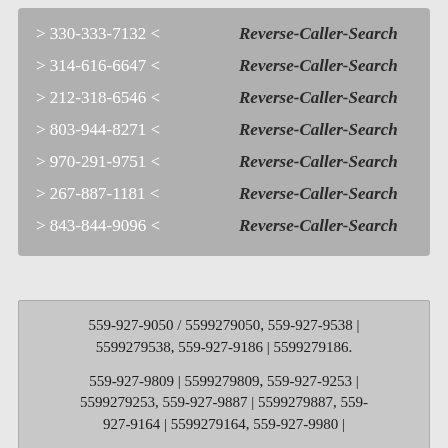> 330-333-7132 <  Reverse-Caller-Search
> 314-616-6647 <  Reverse-Caller-Search
> 212-318-6546 <  Reverse-Caller-Search
> 803-944-8271 <  Reverse-Caller-Search
> 970-291-9751 <  Reverse-Caller-Search
> 267-887-1181 <  Reverse-Caller-Search
> 843-844-9096 <  Reverse-Caller-Search
559-927-9050 / 5599279050, 559-927-9538 | 5599279538, 559-927-9186 | 5599279186.
559-927-9809 | 5599279809, 559-927-9253 | 5599279253, 559-927-9887 | 5599279887, 559-927-9164 | 5599279164, 559-927-9980 |